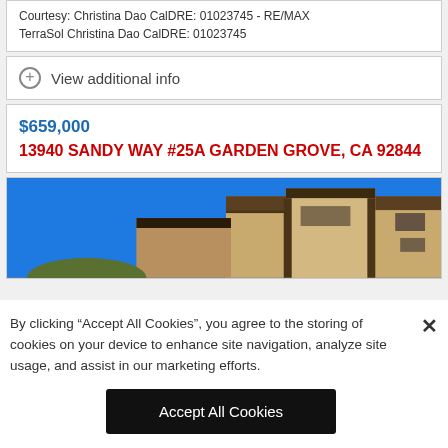Courtesy: Christina Dao CalDRE: 01023745 - RE/MAX TerraSol Christina Dao CalDRE: 01023745
View additional info
$659,000
13940 SANDY WAY #25A GARDEN GROVE, CA 92844
[Figure (photo): Exterior photo of a multi-story residential building with tan/beige facade under a bright blue sky]
By clicking “Accept All Cookies”, you agree to the storing of cookies on your device to enhance site navigation, analyze site usage, and assist in our marketing efforts.
Accept All Cookies